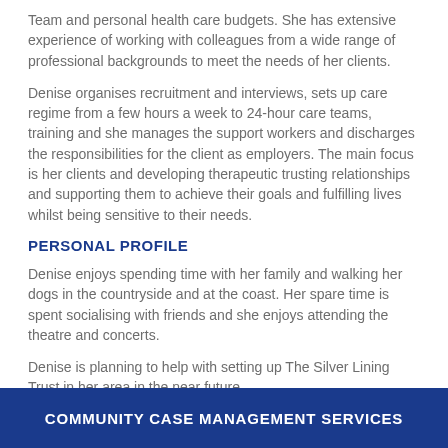Team and personal health care budgets. She has extensive experience of working with colleagues from a wide range of professional backgrounds to meet the needs of her clients.
Denise organises recruitment and interviews, sets up care regime from a few hours a week to 24-hour care teams, training and she manages the support workers and discharges the responsibilities for the client as employers. The main focus is her clients and developing therapeutic trusting relationships and supporting them to achieve their goals and fulfilling lives whilst being sensitive to their needs.
PERSONAL PROFILE
Denise enjoys spending time with her family and walking her dogs in the countryside and at the coast. Her spare time is spent socialising with friends and she enjoys attending the theatre and concerts.
Denise is planning to help with setting up The Silver Lining Trust in her area in the near future.
COMMUNITY CASE MANAGEMENT SERVICES